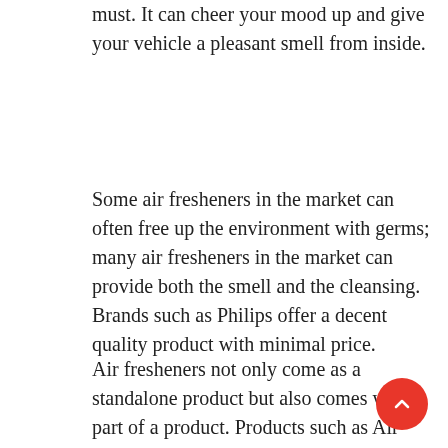must. It can cheer your mood up and give your vehicle a pleasant smell from inside.
Some air fresheners in the market can often free up the environment with germs; many air fresheners in the market can provide both the smell and the cleansing. Brands such as Philips offer a decent quality product with minimal price.
Air fresheners not only come as a standalone product but also comes with a part of a product. Products such as Air conditioners often have inbuilt air freshers,